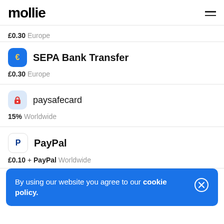mollie
£0.30  Europe
SEPA Bank Transfer
£0.30  Europe
paysafecard
15%  Worldwide
PayPal
£0.10 +  PayPal  Worldwide
By using our website you agree to our cookie policy.
£0.00 + 2.99%  Austria